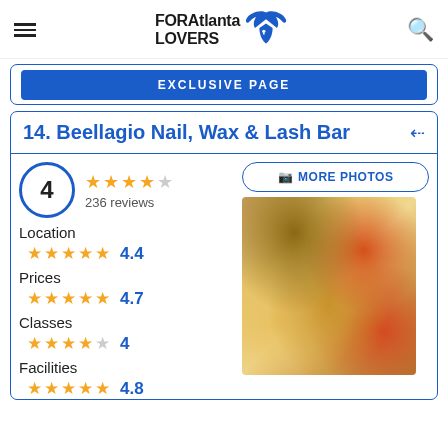FOR Atlanta LOVERS
EXCLUSIVE PAGE
14. Beellagio Nail, Wax & Lash Bar
4 — 236 reviews
Location 4.4
Prices 4.7
Classes 4
Facilities 4.8